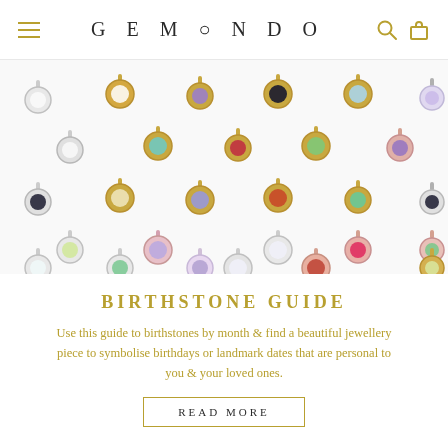GEMONDO
[Figure (photo): Collection of round gemstone charms/pendants on silver and gold settings displayed in rows against white background, showing various birthstone colors]
BIRTHSTONE GUIDE
Use this guide to birthstones by month & find a beautiful jewellery piece to symbolise birthdays or landmark dates that are personal to you & your loved ones.
READ MORE